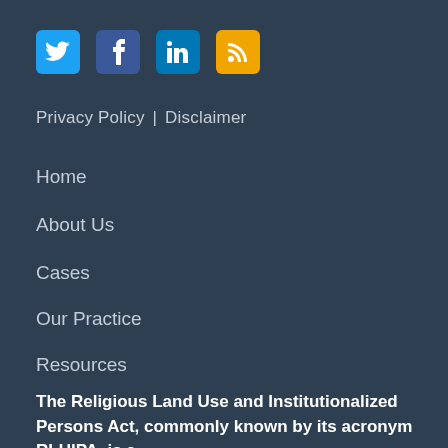[Figure (illustration): Social media icons: Twitter (blue bird), Facebook (blue f), LinkedIn (blue in), RSS (orange wifi-style icon)]
Privacy Policy | Disclaimer
Home
About Us
Cases
Our Practice
Resources
Subscribe
Contact
The Religious Land Use and Institutionalized Persons Act, commonly known by its acronym RLUIPA, is a